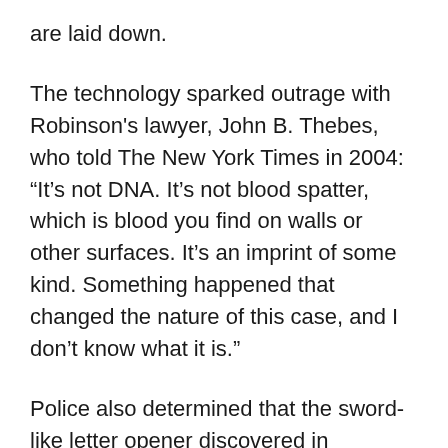are laid down.
The technology sparked outrage with Robinson's lawyer, John B. Thebes, who told The New York Times in 2004: “It’s not DNA. It’s not blood spatter, which is blood you find on walls or other surfaces. It’s an imprint of some kind. Something happened that changed the nature of this case, and I don’t know what it is.”
Police also determined that the sword-like letter opener discovered in Robinson's desk was the murder weapon.
In 2004, Robinson, who lived next door to the police